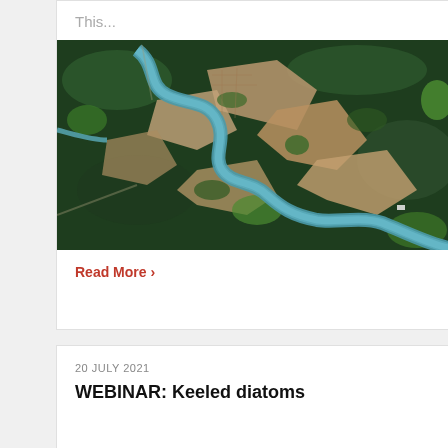This...
[Figure (photo): Satellite aerial view of a winding river (shown in blue-green) cutting through a deforested and partially green landscape, viewed from above.]
Read More ›
20 JULY 2021
WEBINAR: Keeled diatoms